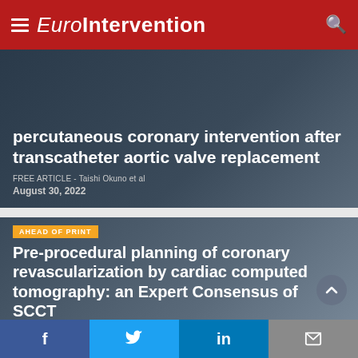EuroIntervention
percutaneous coronary intervention after transcatheter aortic valve replacement
FREE ARTICLE - Taishi Okuno et al
August 30, 2022
AHEAD OF PRINT
Pre-procedural planning of coronary revascularization by cardiac computed tomography: an Expert Consensus of SCCT
FREE ARTICLE - Daniele Andreini et al
August 22, 2022
f  Twitter  in  Email